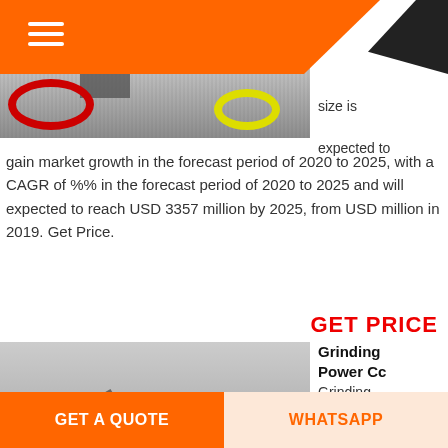[Figure (photo): Industrial grinding equipment with red circular components and yellow barrels in an outdoor facility]
size is expected to gain market growth in the forecast period of 2020 to 2025, with a CAGR of %% in the forecast period of 2020 to 2025 and will expected to reach USD 3357 million by 2025, from USD million in 2019. Get Price.
GET PRICE
[Figure (photo): Industrial grinding mill facility interior with large silo and pipe structures]
Grinding Power Cc
Grinding
Power Cc
Phone and
Map of
GET A QUOTE
WHATSAPP